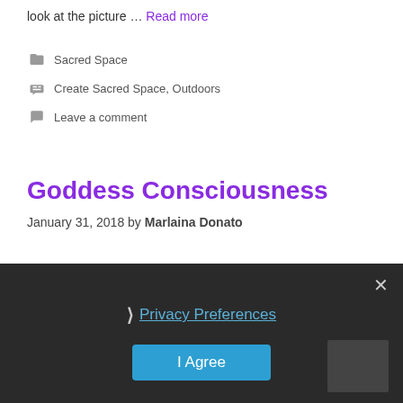look at the picture … Read more
Sacred Space
Create Sacred Space, Outdoors
Leave a comment
Goddess Consciousness
January 31, 2018 by Marlaina Donato
Privacy Preferences
I Agree